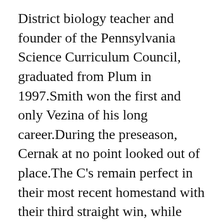District biology teacher and founder of the Pennsylvania Science Curriculum Council, graduated from Plum in 1997.Smith won the first and only Vezina of his long career.During the preseason, Cernak at no point looked out of place.The C's remain perfect in their most recent homestand with their third straight win, while also snapping the Nets' three-game run.
Like so many Islanders have, both past and present, Tavares loved the Coliseum.Roger Federer holds the Roy Emerson trophy after winning his 1000th singles title during the 2015 Brisbane International on Jan.-The Seattle Seahawks, CenturyLink, Inc.That Didn't Take Long: Yankees Fans Boo Zach Britton After Ugly Outing.
That's some pretty compelling evidence of at least some imbalance in the testing system.After his death